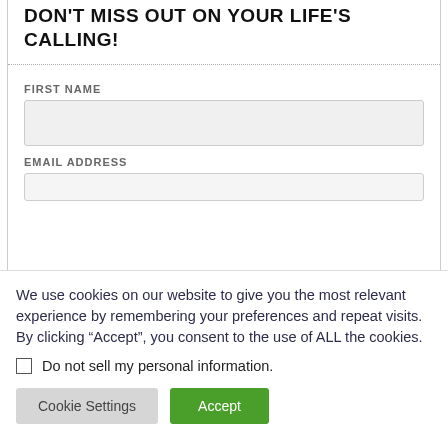DON'T MISS OUT ON YOUR LIFE'S CALLING!
FIRST NAME
EMAIL ADDRESS
We use cookies on our website to give you the most relevant experience by remembering your preferences and repeat visits. By clicking “Accept”, you consent to the use of ALL the cookies.
Do not sell my personal information.
Cookie Settings
Accept